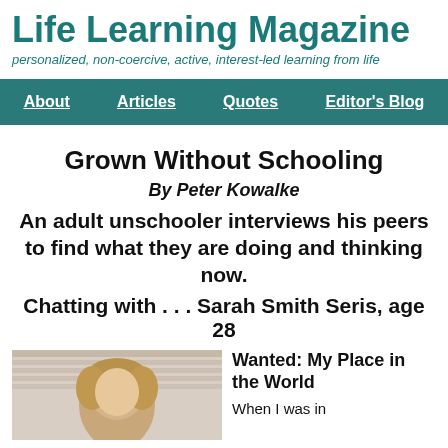Life Learning Magazine
personalized, non-coercive, active, interest-led learning from life
About | Articles | Quotes | Editor's Blog
Grown Without Schooling
By Peter Kowalke
An adult unschooler interviews his peers to find what they are doing and thinking now.
Chatting with . . . Sarah Smith Seris, age 28
[Figure (photo): Photo of Sarah Smith Seris, a woman with blonde/brown hair, photographed indoors with window blinds visible in background]
Wanted: My Place in the World
When I was in